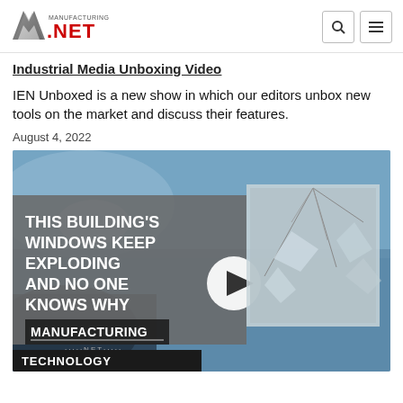Manufacturing.net
Industrial Media Unboxing Video
IEN Unboxed is a new show in which our editors unbox new tools on the market and discuss their features.
August 4, 2022
[Figure (screenshot): Video thumbnail showing text 'THIS BUILDING'S WINDOWS KEEP EXPLODING AND NO ONE KNOWS WHY' with a play button and shattered glass image, Manufacturing.Net logo below, with carousel dots]
TECHNOLOGY